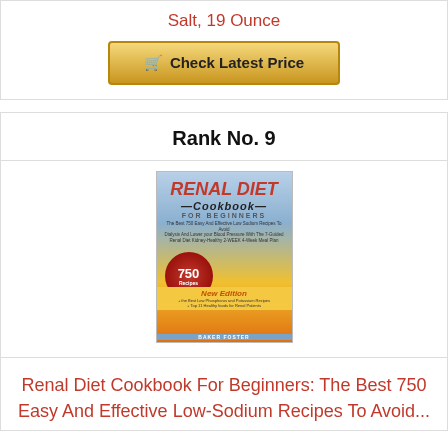Salt, 19 Ounce
[Figure (other): Check Latest Price button with shopping cart icon]
Rank No. 9
[Figure (photo): Book cover: Renal Diet Cookbook For Beginners, 750 Recipes, New Edition, by Baker Foster]
Renal Diet Cookbook For Beginners: The Best 750 Easy And Effective Low-Sodium Recipes To Avoid...